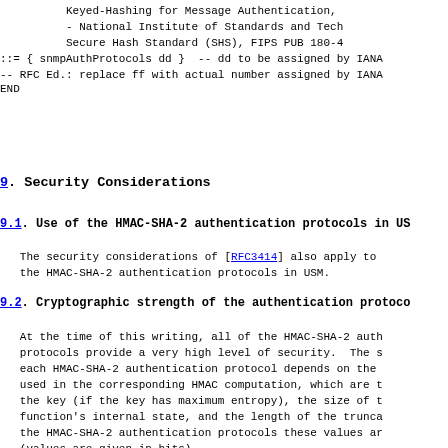Keyed-Hashing for Message Authentication,
          - National Institute of Standards and Tech
          Secure Hash Standard (SHS), FIPS PUB 180-4
::= { snmpAuthProtocols dd }  -- dd to be assigned by IANA
-- RFC Ed.: replace ff with actual number assigned by IANA
END
9.  Security Considerations
9.1.  Use of the HMAC-SHA-2 authentication protocols in US
The security considerations of [RFC3414] also apply to
the HMAC-SHA-2 authentication protocols in USM.
9.2.  Cryptographic strength of the authentication protoco
At the time of this writing, all of the HMAC-SHA-2 auth
protocols provide a very high level of security.  The s
each HMAC-SHA-2 authentication protocol depends on the
used in the corresponding HMAC computation, which are t
the key (if the key has maximum entropy), the size of t
function's internal state, and the length of the trunca
the HMAC-SHA-2 authentication protocols these values ar
(values are given in bits).